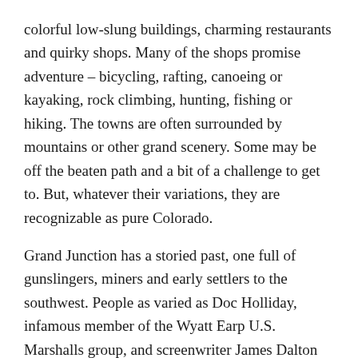colorful low-slung buildings, charming restaurants and quirky shops. Many of the shops promise adventure – bicycling, rafting, canoeing or kayaking, rock climbing, hunting, fishing or hiking.  The towns are often surrounded by mountains or other grand scenery.  Some may be off the beaten path and a bit of a challenge to get to.  But, whatever their variations, they are recognizable as pure Colorado.
Grand Junction has a storied past, one full of gunslingers, miners and early settlers to the southwest. People as varied as Doc Holliday, infamous member of the Wyatt Earp U.S. Marshalls group, and screenwriter James Dalton Trumbo were once residents here. NFL players, aviators, marines, and authors have called Grand Junction home.
The town sits near the midpoint on a 30-mile arcing valley, the